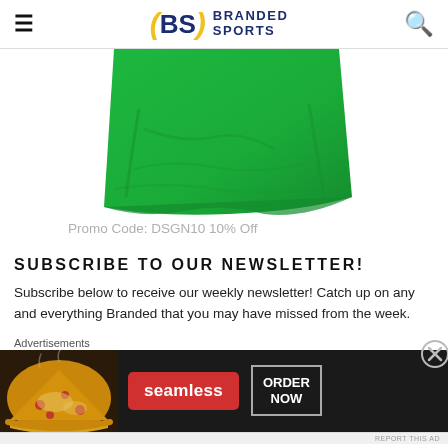(BS) BRANDED SPORTS
[Figure (photo): Green folded t-shirt or fabric item on white background]
Promo Code: DSGN10 10% Off
SUBSCRIBE TO OUR NEWSLETTER!
Subscribe below to receive our weekly newsletter! Catch up on any and everything Branded that you may have missed from the week.
[Figure (infographic): Seamless food delivery advertisement banner with pizza image, Seamless logo and ORDER NOW button]